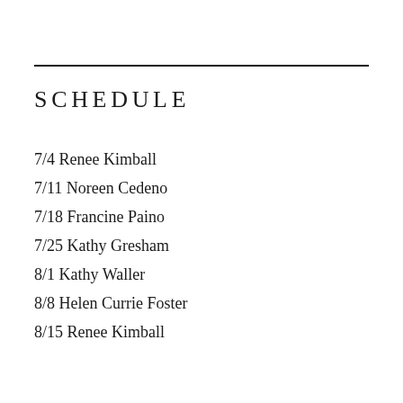SCHEDULE
7/4 Renee Kimball
7/11 Noreen Cedeno
7/18 Francine Paino
7/25 Kathy Gresham
8/1 Kathy Waller
8/8 Helen Currie Foster
8/15 Renee Kimball